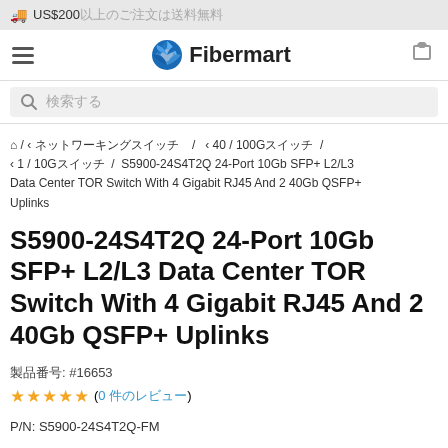🚚 US$200以上のご注文は送料無料
[Figure (logo): Fibermart logo with blue pinwheel icon and bold brand name]
搜索栏占位符文字
⌂ / ‹ ネットワーキングスイッチ / ‹ 40 / 100Gスイッチ / ‹ 1 / 10Gスイッチ / S5900-24S4T2Q 24-Port 10Gb SFP+ L2/L3 Data Center TOR Switch With 4 Gigabit RJ45 And 2 40Gb QSFP+ Uplinks
S5900-24S4T2Q 24-Port 10Gb SFP+ L2/L3 Data Center TOR Switch With 4 Gigabit RJ45 And 2 40Gb QSFP+ Uplinks
製品番号: #16653
★★★★★ (0 件のレビュー)
P/N: S5900-24S4T2Q-FM